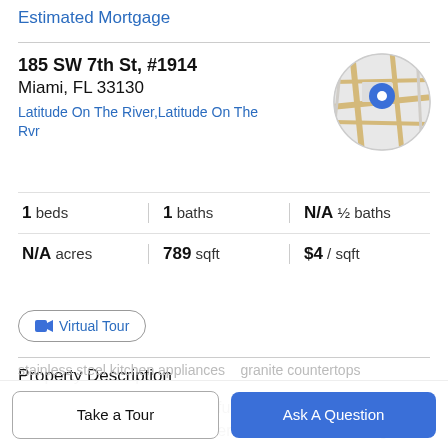Estimated Mortgage
185 SW 7th St, #1914
Miami, FL 33130
Latitude On The River,Latitude On The Rvr
[Figure (map): Circular map thumbnail showing street map with blue location pin marker]
1 beds | 1 baths | N/A ½ baths | N/A acres | 789 sqft | $4 / sqft
Virtual Tour
Property Description
Available July 11th. A beautiful & spacious 1 Bed/1 Bath condo at Latitude on the River w/ wood floors throughout
stainless steel kitchen appliances    granite countertops
Take a Tour
Ask A Question